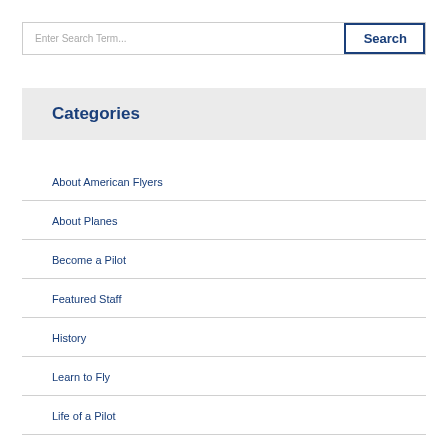Enter Search Term...
Categories
About American Flyers
About Planes
Become a Pilot
Featured Staff
History
Learn to Fly
Life of a Pilot
Student Interview
Testing